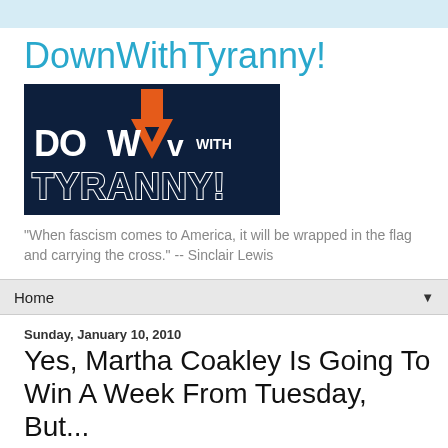DownWithTyranny!
[Figure (logo): DownWithTyranny! blog logo — dark navy background with stylized bold text 'DOWN WITH TYRANNY!' in white and orange lettering]
"When fascism comes to America, it will be wrapped in the flag and carrying the cross." -- Sinclair Lewis
Home
Sunday, January 10, 2010
Yes, Martha Coakley Is Going To Win A Week From Tuesday, But...
[Figure (photo): Small thumbnail image at bottom of page, partially visible]